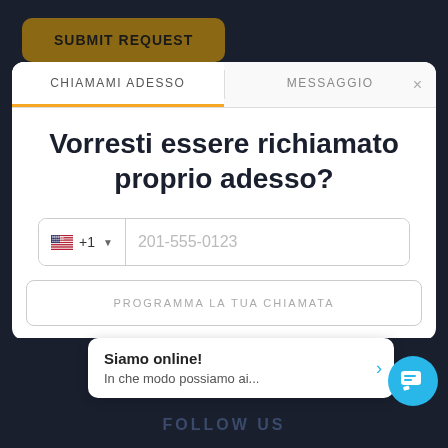[Figure (screenshot): A web UI screenshot showing a 'SUBMIT REQUEST' button at top on dark background, a modal dialog with two tabs ('CHIAMAMI ADESSO' and 'MESSAGGIO'), a heading 'Vorresti essere richiamato proprio adesso?', a phone input field with US flag and +1 country code showing placeholder '201-555-0123', a 'PROGRAMMA LA TUA CHIAMATA' schedule button, a 'CHIAMAMI ADESSO' orange call button, and at the bottom a chat popup saying 'Siamo online! In che modo possiamo ai...' with a blue chat bubble icon, and a 'FOLLOW US' text on dark background.]